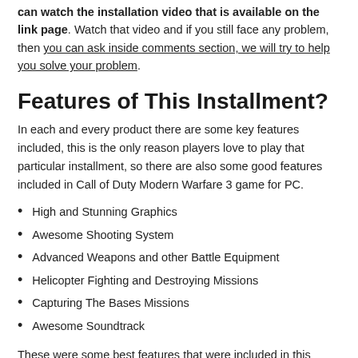can watch the installation video that is available on the link page. Watch that video and if you still face any problem, then you can ask inside comments section, we will try to help you solve your problem.
Features of This Installment?
In each and every product there are some key features included, this is the only reason players love to play that particular installment, so there are also some good features included in Call of Duty Modern Warfare 3 game for PC.
High and Stunning Graphics
Awesome Shooting System
Advanced Weapons and other Battle Equipment
Helicopter Fighting and Destroying Missions
Capturing The Bases Missions
Awesome Soundtrack
These were some best features that were included in this installment and these are the only features that the players love and they tend to play this version on their Computers.